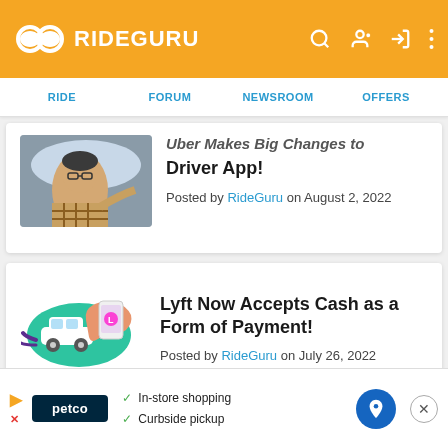RIDEGURU
RIDE | FORUM | NEWSROOM | OFFERS
[Figure (screenshot): Partial article card: photo of a man driving a car, with partially visible title 'Uber Makes Big Changes to Driver App!' and 'Posted by RideGuru on August 2, 2022']
Driver App!
Posted by RideGuru on August 2, 2022
[Figure (illustration): Lyft illustration showing a hand holding a phone with the Lyft logo, with a small white car on a teal oval background]
Lyft Now Accepts Cash as a Form of Payment!
Posted by RideGuru on July 26, 2022
[Figure (screenshot): Petco advertisement banner showing Petco logo, checkmarks for 'In-store shopping' and 'Curbside pickup', a map/navigation icon, and a close button]